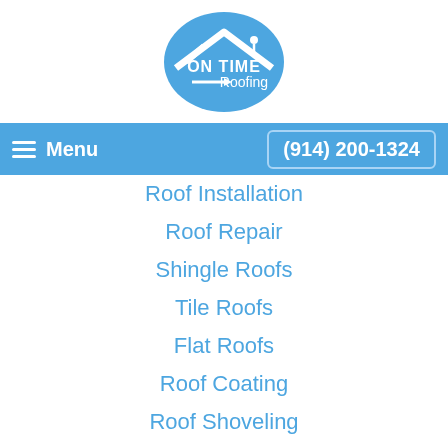[Figure (logo): On Time Roofing logo — blue oval with white roof outline and arrow, text 'ON TIME Roofing']
≡ Menu   (914) 200-1324
Roof Installation
Roof Repair
Shingle Roofs
Tile Roofs
Flat Roofs
Roof Coating
Roof Shoveling
Roofing Prices